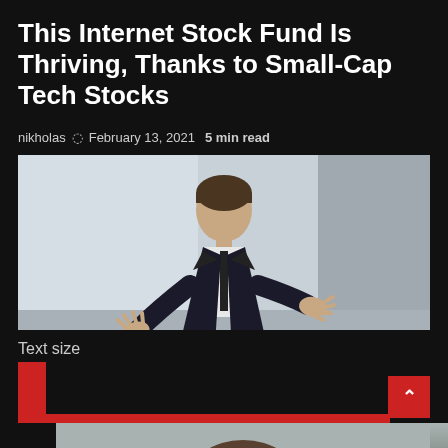This Internet Stock Fund Is Thriving, Thanks to Small-Cap Tech Stocks
nikholas  February 13, 2021  5 min read
[Figure (photo): A man in a dark business suit and white shirt gesturing with both hands while speaking, photographed against a light background.]
Text size
[Figure (photo): Partial view of a second photo showing the top of a person's head, cropped at the bottom of the page.]